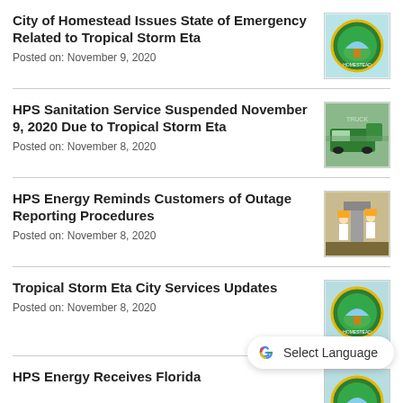City of Homestead Issues State of Emergency Related to Tropical Storm Eta
Posted on: November 9, 2020
HPS Sanitation Service Suspended November 9, 2020 Due to Tropical Storm Eta
Posted on: November 8, 2020
HPS Energy Reminds Customers of Outage Reporting Procedures
Posted on: November 8, 2020
Tropical Storm Eta City Services Updates
Posted on: November 8, 2020
HPS Energy Receives Florida
[Figure (logo): City of Homestead circular logo on light blue background]
[Figure (photo): Green garbage truck on a street]
[Figure (photo): Workers in yellow hard hats near electrical equipment]
[Figure (logo): City of Homestead circular logo on light blue/teal background]